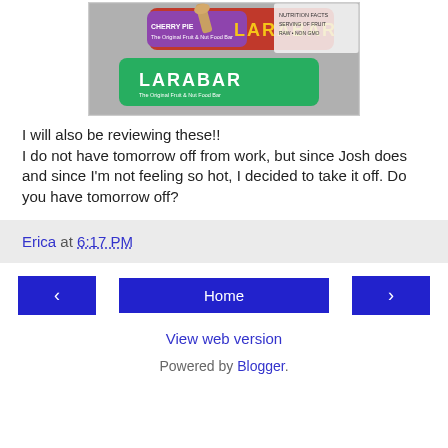[Figure (photo): Photo of Larabar energy bars, showing three bars in purple/red and green packaging labeled 'LARABAR' on a gray surface.]
I will also be reviewing these!! I do not have tomorrow off from work, but since Josh does and since I'm not feeling so hot, I decided to take it off. Do you have tomorrow off?
Erica at 6:17 PM
< Home >
View web version
Powered by Blogger.